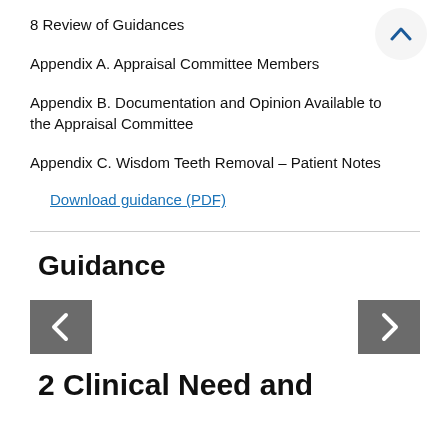8 Review of Guidances
Appendix A. Appraisal Committee Members
Appendix B. Documentation and Opinion Available to the Appraisal Committee
Appendix C. Wisdom Teeth Removal – Patient Notes
Download guidance (PDF)
Guidance
2 Clinical Need and